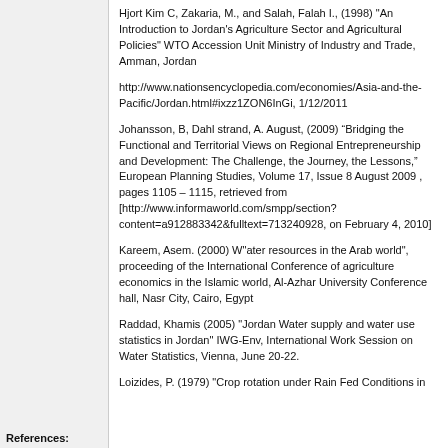Hjort Kim C, Zakaria, M., and Salah, Falah I., (1998) "An Introduction to Jordan's Agriculture Sector and Agricultural Policies" WTO Accession Unit Ministry of Industry and Trade, Amman, Jordan
http://www.nationsencyclopedia.com/economies/Asia-and-the-Pacific/Jordan.html#ixzz1ZON6InGi, 1/12/2011
Johansson, B, Dahl strand, A. August, (2009) “Bridging the Functional and Territorial Views on Regional Entrepreneurship and Development: The Challenge, the Journey, the Lessons,” European Planning Studies, Volume 17, Issue 8 August 2009 , pages 1105 – 1115, retrieved from [http://www.informaworld.com/smpp/section?content=a912883342&fulltext=713240928, on February 4, 2010]
Kareem, Asem. (2000) W"ater resources in the Arab world", proceeding of the International Conference of agriculture economics in the Islamic world, Al-Azhar University Conference hall, Nasr City, Cairo, Egypt
Raddad, Khamis (2005) "Jordan Water supply and water use statistics in Jordan" IWG-Env, International Work Session on Water Statistics, Vienna, June 20-22.
References:
Loizides, P. (1979) "Crop rotation under Rain Fed Conditions in